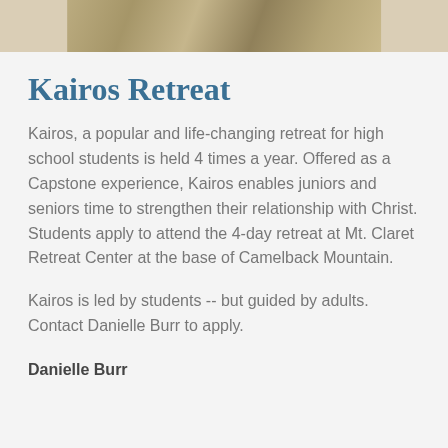[Figure (photo): Decorative image strip at top of page showing illustrated or artistic imagery]
Kairos Retreat
Kairos, a popular and life-changing retreat for high school students is held 4 times a year. Offered as a Capstone experience, Kairos enables juniors and seniors time to strengthen their relationship with Christ. Students apply to attend the 4-day retreat at Mt. Claret Retreat Center at the base of Camelback Mountain.
Kairos is led by students -- but guided by adults. Contact Danielle Burr to apply.
Danielle Burr